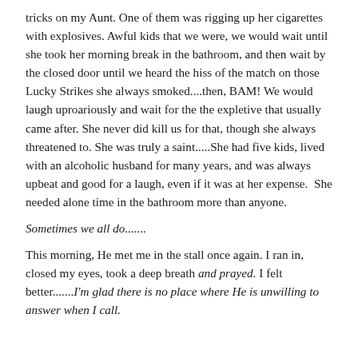tricks on my Aunt. One of them was rigging up her cigarettes with explosives. Awful kids that we were, we would wait until she took her morning break in the bathroom, and then wait by the closed door until we heard the hiss of the match on those Lucky Strikes she always smoked....then, BAM! We would laugh uproariously and wait for the the expletive that usually came after. She never did kill us for that, though she always threatened to. She was truly a saint.....She had five kids, lived with an alcoholic husband for many years, and was always upbeat and good for a laugh, even if it was at her expense.  She needed alone time in the bathroom more than anyone.
Sometimes we all do.......
This morning, He met me in the stall once again. I ran in, closed my eyes, took a deep breath and prayed. I felt better.......I'm glad there is no place where He is unwilling to answer when I call.